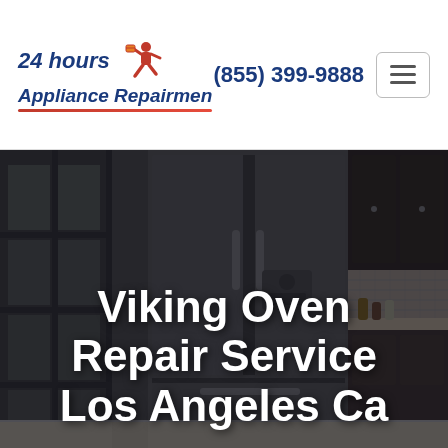[Figure (logo): 24 hours Appliance Repairmen logo with running repairman figure and red underline]
(855) 399-9888
[Figure (screenshot): Kitchen scene with dark stainless steel French door refrigerator, dark wood cabinetry, tile backsplash, and small dog on counter]
Viking Oven Repair Service Los Angeles Ca